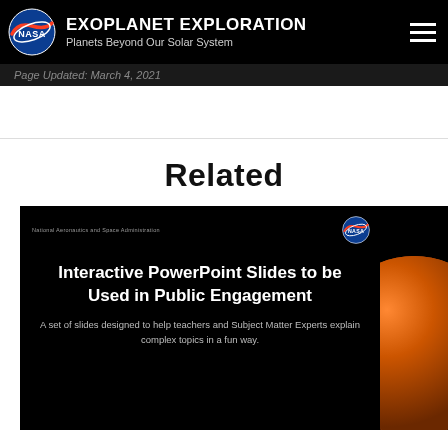EXOPLANET EXPLORATION Planets Beyond Our Solar System
Page Updated: March 4, 2021
Related
[Figure (screenshot): NASA Exoplanet Exploration screenshot showing a dark-background slide titled 'Interactive PowerPoint Slides to be Used in Public Engagement' with NASA logo, and subtitle 'A set of slides designed to help teachers and Subject Matter Experts explain complex topics in a fun way.']
[Figure (photo): Partial view of an orange/red planetary or astronomical image on a black background, cropped on the right edge of the page.]